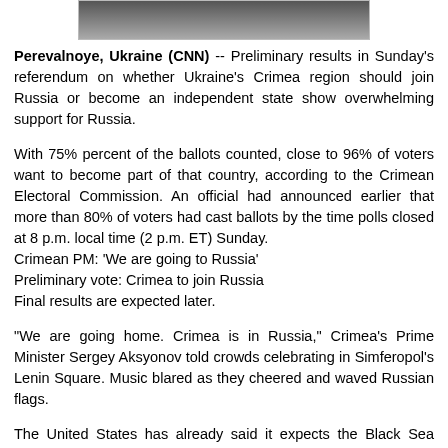[Figure (photo): Partial photo at top of page showing people, cropped]
Perevalnoye, Ukraine (CNN) -- Preliminary results in Sunday's referendum on whether Ukraine's Crimea region should join Russia or become an independent state show overwhelming support for Russia.
With 75% percent of the ballots counted, close to 96% of voters want to become part of that country, according to the Crimean Electoral Commission. An official had announced earlier that more than 80% of voters had cast ballots by the time polls closed at 8 p.m. local time (2 p.m. ET) Sunday.
Crimean PM: 'We are going to Russia'
Preliminary vote: Crimea to join Russia
Final results are expected later.
"We are going home. Crimea is in Russia," Crimea's Prime Minister Sergey Aksyonov told crowds celebrating in Simferopol's Lenin Square. Music blared as they cheered and waved Russian flags.
The United States has already said it expects the Black Sea peninsula's majority ethnic Russian population to vote in